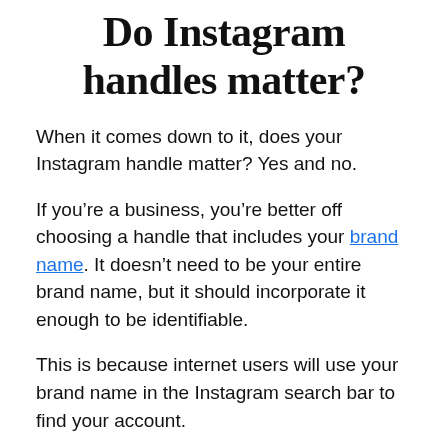Do Instagram handles matter?
When it comes down to it, does your Instagram handle matter? Yes and no.
If you’re a business, you’re better off choosing a handle that includes your brand name. It doesn’t need to be your entire brand name, but it should incorporate it enough to be identifiable.
This is because internet users will use your brand name in the Instagram search bar to find your account.